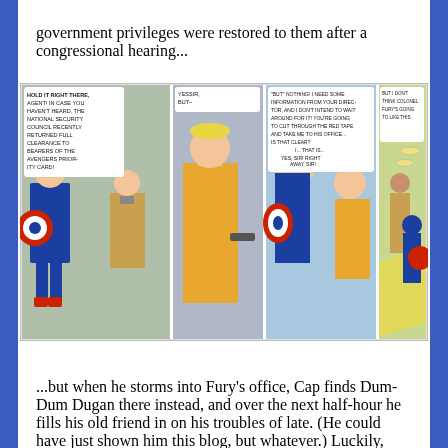government privileges were restored to them after a congressional hearing...
[Figure (illustration): Comic book panels showing Captain America with a security guard. Panel 1: Guard speaks to Captain America about National Security Council returning full clearance to bearers of the Avengers Priority Card. Panel 2: A blond man in orange suit says 'Yessir, but--'. Panel 3: Captain America confronts the man saying he needs information from the director and intends to cut through the red tape. Panel 4: Captain America walks away down a corridor.]
...but when he storms into Fury's office, Cap finds Dum-Dum Dugan there instead, and over the next half-hour he fills his old friend in on his troubles of late. (He could have just shown him this blog, but whatever.) Luckily, Dugan is very sympathetic (and seems to know an awful lot about doctored military records), and he tells Cap that Fury was on the case already.